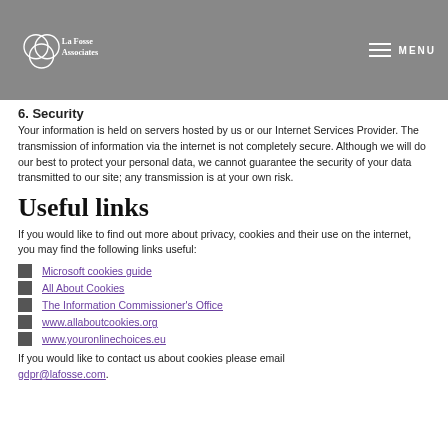La Fosse Associates — navigation header with logo and menu
6. Security
Your information is held on servers hosted by us or our Internet Services Provider. The transmission of information via the internet is not completely secure. Although we will do our best to protect your personal data, we cannot guarantee the security of your data transmitted to our site; any transmission is at your own risk.
Useful links
If you would like to find out more about privacy, cookies and their use on the internet, you may find the following links useful:
Microsoft cookies guide
All About Cookies
The Information Commissioner's Office
www.allaboutcookies.org
www.youronlinechoices.eu
If you would like to contact us about cookies please email gdpr@lafosse.com.